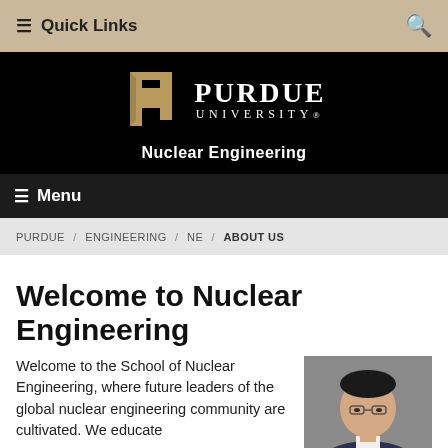☰ Quick Links  🔍
[Figure (logo): Purdue University logo with stylized P and text 'PURDUE UNIVERSITY' in white on black background]
Nuclear Engineering
☰ Menu
PURDUE / ENGINEERING / NE / ABOUT US
Welcome to Nuclear Engineering
Welcome to the School of Nuclear Engineering, where future leaders of the global nuclear engineering community are cultivated. We educate
[Figure (photo): Headshot photo of an Asian male professor wearing glasses, in professional attire, against a grey background]